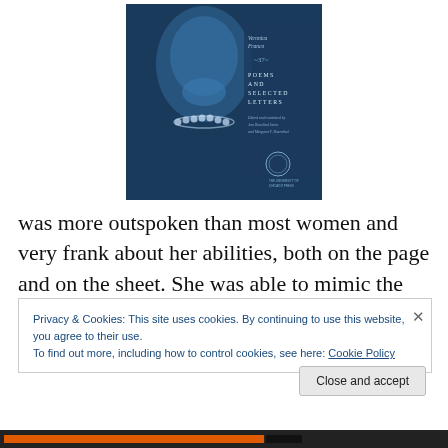[Figure (photo): Book cover of 'Poems and Selected Letters' by Veronica Franco, edited and translated by Ann Rosalind Jones and Margaret F. Rosenthal. The cover shows a blue-toned Renaissance portrait of a woman wearing a pearl necklace, with the University of Chicago Press logo at the bottom.]
was more outspoken than most women and very frank about her abilities, both on the page and on the sheet. She was able to mimic the form of poetry that was popular
Privacy & Cookies: This site uses cookies. By continuing to use this website, you agree to their use.
To find out more, including how to control cookies, see here: Cookie Policy
Close and accept